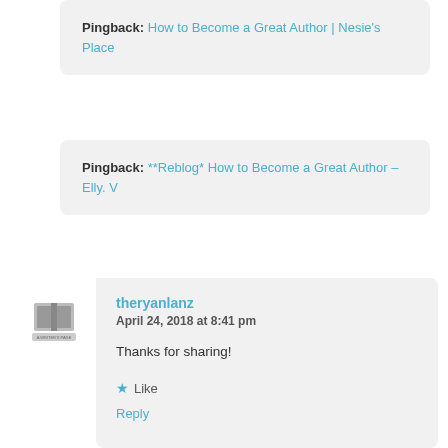Pingback: How to Become a Great Author | Nesie's Place
Pingback: **Reblog* How to Become a Great Author – Elly. V
theryanlanz
April 24, 2018 at 8:41 pm

Thanks for sharing!

★ Like

Reply